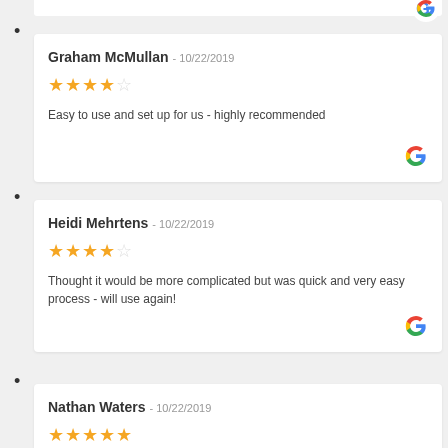•
Graham McMullan - 10/22/2019
★★★★☆
Easy to use and set up for us - highly recommended
•
Heidi Mehrtens - 10/22/2019
★★★★☆
Thought it would be more complicated but was quick and very easy process - will use again!
•
Nathan Waters - 10/22/2019
★★★★★